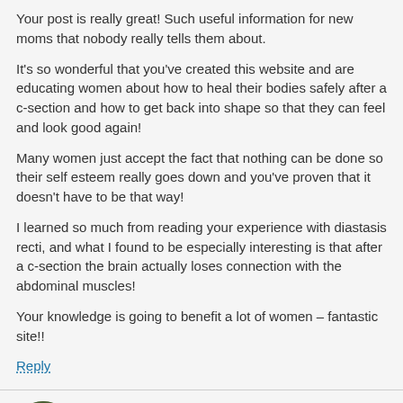Your post is really great! Such useful information for new moms that nobody really tells them about.
It's so wonderful that you've created this website and are educating women about how to heal their bodies safely after a c-section and how to get back into shape so that they can feel and look good again!
Many women just accept the fact that nothing can be done so their self esteem really goes down and you've proven that it doesn't have to be that way!
I learned so much from reading your experience with diastasis recti, and what I found to be especially interesting is that after a c-section the brain actually loses connection with the abdominal muscles!
Your knowledge is going to benefit a lot of women – fantastic site!!
Reply
Jessica Camden
May 2, 2016
Thank you for saying so Anna 🙂 I really do hope this is useful to other moms out there. I started to